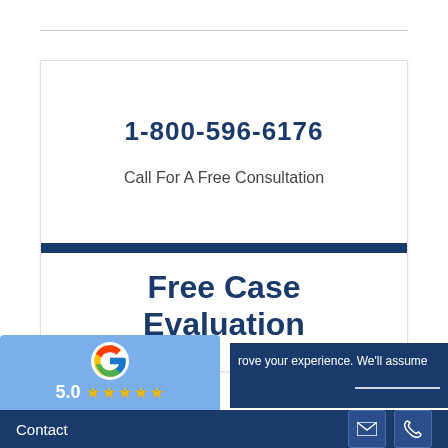1-800-596-6176
Call For A Free Consultation
Free Case Evaluation
[Figure (logo): Google logo icon with rating stars]
rove your experience. We'll assume
Contact